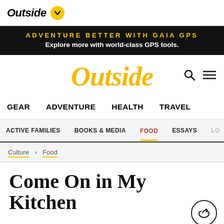Outside
[Figure (infographic): Ad banner: ADVENTURE BETTER WITH GAIA GPS / Explore more with world-class GPS tools.]
[Figure (logo): Outside magazine main logo in yellow/orange italic font with search and menu icons]
GEAR   ADVENTURE   HEALTH   TRAVEL
ACTIVE FAMILIES   BOOKS & MEDIA   FOOD   ESSAYS   LO...
Culture > Food
Come On in My Kitchen